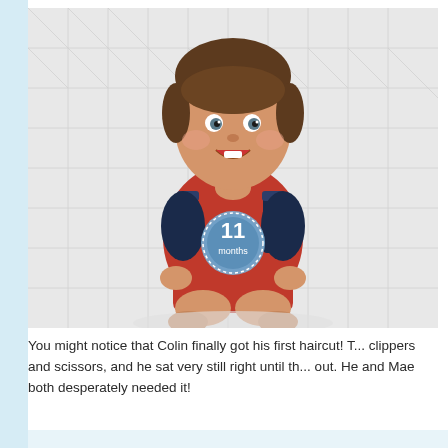[Figure (photo): A smiling baby approximately 11 months old, wearing a red romper with navy blue accents and a circular badge reading '11 months', sitting on a white quilted surface/bed.]
You might notice that Colin finally got his first haircut! T... clippers and scissors, and he sat very still right until th... out. He and Mae both desperately needed it!